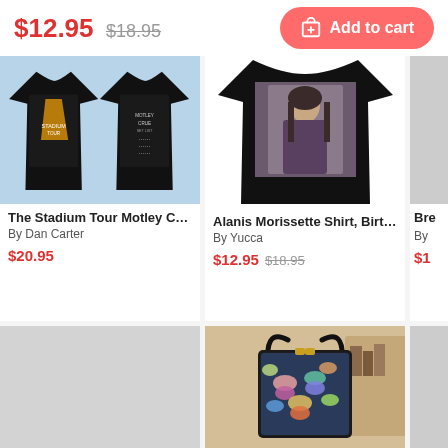$12.95 $18.95
Add to cart
[Figure (photo): Two black Motley Crue / Def Leppard Stadium Tour t-shirts displayed on a blue background]
The Stadium Tour Motley Cru...
By Dan Carter
$20.95
[Figure (photo): Black t-shirt with portrait graphic of Alanis Morissette]
Alanis Morissette Shirt, Birthd...
By Yucca
$12.95 $18.95
[Figure (photo): Partially visible product (Bre...) with price $1...]
[Figure (photo): Gray placeholder loading box for a product]
[Figure (photo): Colorful butterfly-themed tote bag with black handles displayed in a warm-toned room setting]